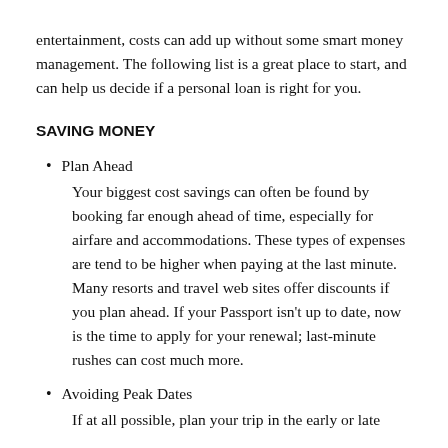entertainment, costs can add up without some smart money management. The following list is a great place to start, and can help us decide if a personal loan is right for you.
SAVING MONEY
Plan Ahead
Your biggest cost savings can often be found by booking far enough ahead of time, especially for airfare and accommodations. These types of expenses are tend to be higher when paying at the last minute. Many resorts and travel web sites offer discounts if you plan ahead. If your Passport isn't up to date, now is the time to apply for your renewal; last-minute rushes can cost much more.
Avoiding Peak Dates
If at all possible, plan your trip in the early or late